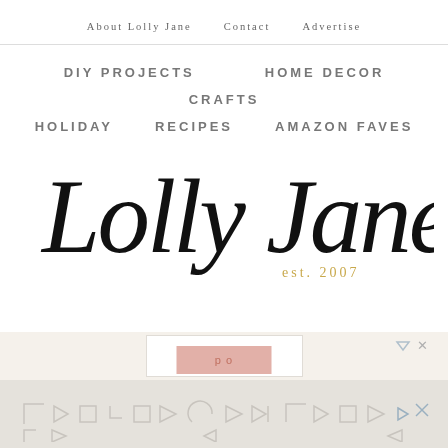About Lolly Jane   Contact   Advertise
DIY PROJECTS   HOME DECOR
CRAFTS
HOLIDAY   RECIPES   AMAZON FAVES
Lolly Jane est. 2007
[Figure (other): Bottom advertisement strip with geometric icons and pink content box]
[Figure (other): Ad banner overlay with geometric shape icons (triangles, squares, arrows) on light gray background, with close button]